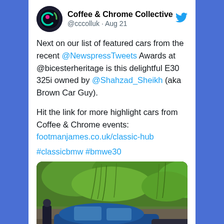Coffee & Chrome Collective @cccolluk · Aug 21
Next on our list of featured cars from the recent @NewspressTweets Awards at @bicesterheritage is this delightful E30 325i owned by @Shahzad_Sheikh (aka Brown Car Guy).
Hit the link for more highlight cars from Coffee & Chrome events: footmanjames.co.uk/classic-hub
#classicbmw #bmwe30
[Figure (photo): Photo of a classic blue BMW E30 parked outdoors with trees and greenery in background, a person standing nearby, and a circular logo visible at the bottom.]